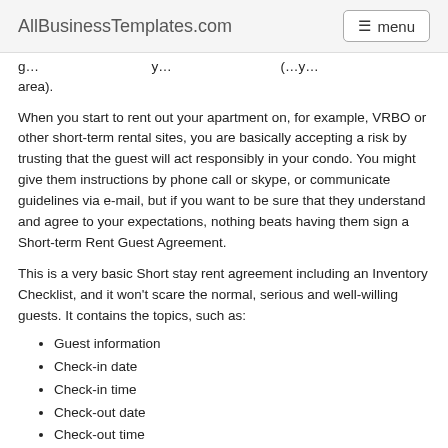AllBusinessTemplates.com  menu
g... y... y... (... y... area).
When you start to rent out your apartment on, for example, VRBO or other short-term rental sites, you are basically accepting a risk by trusting that the guest will act responsibly in your condo. You might give them instructions by phone call or skype, or communicate guidelines via e-mail, but if you want to be sure that they understand and agree to your expectations, nothing beats having them sign a Short-term Rent Guest Agreement.
This is a very basic Short stay rent agreement including an Inventory Checklist, and it won't scare the normal, serious and well-willing guests. It contains the topics, such as:
Guest information
Check-in date
Check-in time
Check-out date
Check-out time